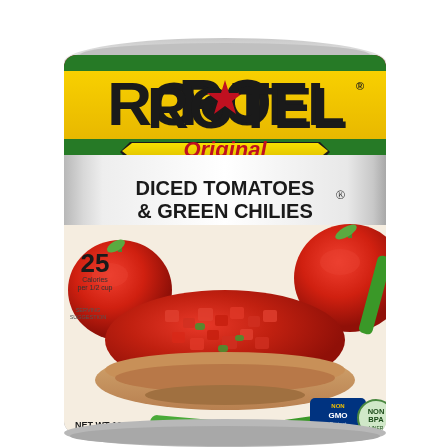[Figure (photo): RO-TEL Original Diced Tomatoes & Green Chilies can, 10 oz (283g). The can has a silver metallic body with a colorful label featuring green, red, and yellow stripes at the top, the RO-TEL logo in large black bold letters with a red star between RO and TEL, an 'Original' badge in red italic text on a yellow background, 'DICED TOMATOES & GREEN CHILIES' product name in bold black text, a serving photo showing a bowl of diced tomatoes and green chilies surrounded by fresh tomatoes and jalapeños, a '25 Calories per 1/2 cup' callout, Non-GMO Project Verified and Non-BPA Liner badges at the bottom right, and 'NET WT 10 OZ (283g)' at the bottom left.]